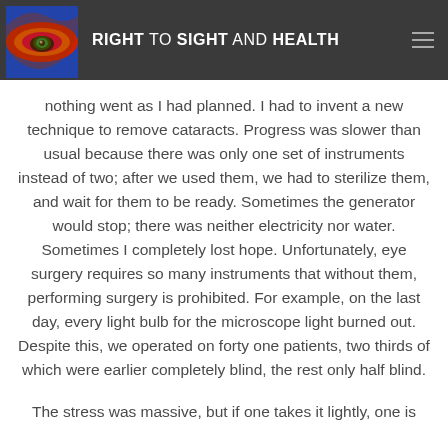RIGHT TO SIGHT AND HEALTH
nothing went as I had planned. I had to invent a new technique to remove cataracts. Progress was slower than usual because there was only one set of instruments instead of two; after we used them, we had to sterilize them, and wait for them to be ready. Sometimes the generator would stop; there was neither electricity nor water. Sometimes I completely lost hope. Unfortunately, eye surgery requires so many instruments that without them, performing surgery is prohibited. For example, on the last day, every light bulb for the microscope light burned out. Despite this, we operated on forty one patients, two thirds of which were earlier completely blind, the rest only half blind.
The stress was massive, but if one takes it lightly, one is